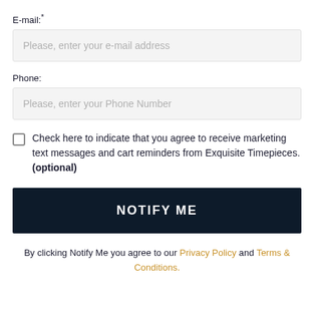E-mail:*
Please, enter your e-mail address
Phone:
Please, enter your Phone Number
Check here to indicate that you agree to receive marketing text messages and cart reminders from Exquisite Timepieces. (optional)
NOTIFY ME
By clicking Notify Me you agree to our Privacy Policy and Terms & Conditions.